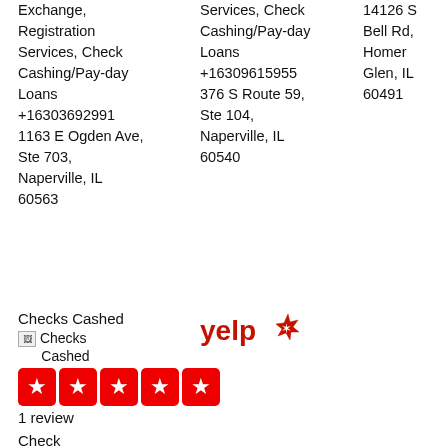Exchange, Registration Services, Check Cashing/Pay-day Loans +16303692991 1163 E Ogden Ave, Ste 703, Naperville, IL 60563
Services, Check Cashing/Pay-day Loans +16309615955 376 S Route 59, Ste 104, Naperville, IL 60540
14126 S Bell Rd, Homer Glen, IL 60491
Checks Cashed
[Figure (logo): Yelp logo with red text and starburst icon]
[Figure (illustration): Broken image placeholder for Checks Cashed logo]
[Figure (other): Five red star rating boxes with white stars]
1 review
Check Cashing/Pay-day Loans